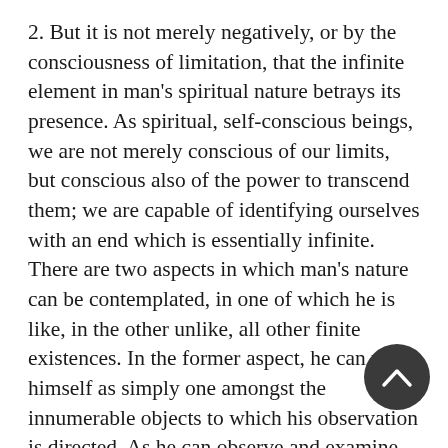2. But it is not merely negatively, or by the consciousness of limitation, that the infinite element in man's spiritual nature betrays its presence. As spiritual, self-conscious beings, we are not merely conscious of our limits, but conscious also of the power to transcend them; we are capable of identifying ourselves with an end which is essentially infinite. There are two aspects in which man's nature can be contemplated, in one of which he is like, in the other unlike, all other finite existences. In the former aspect, he can view himself as simply one amongst the innumerable objects to which his observation is directed. As he can observe and examine the other existences in the external world, classify them, discern the laws which regulate their changes and relations, so he can regard himself as a single object amidst other objects, observe the facts and phenomena of his individual nature, physical and